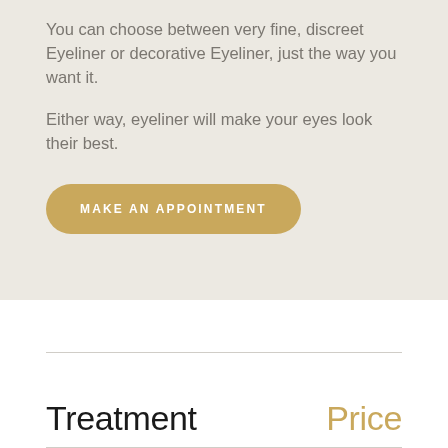You can choose between very fine, discreet Eyeliner or decorative Eyeliner, just the way you want it.
Either way, eyeliner will make your eyes look their best.
MAKE AN APPOINTMENT
| Treatment | Price |
| --- | --- |